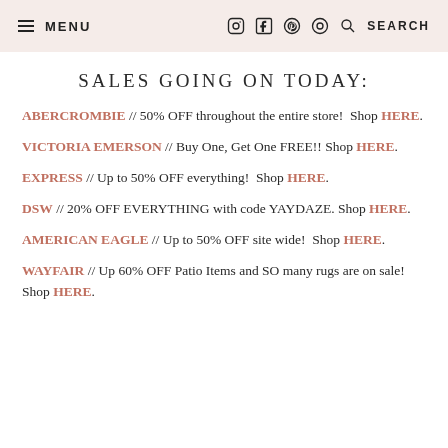MENU  [social icons]  SEARCH
SALES GOING ON TODAY:
ABERCROMBIE // 50% OFF throughout the entire store! Shop HERE.
VICTORIA EMERSON // Buy One, Get One FREE!! Shop HERE.
EXPRESS // Up to 50% OFF everything!  Shop HERE.
DSW // 20% OFF EVERYTHING with code YAYDAZE. Shop HERE.
AMERICAN EAGLE // Up to 50% OFF site wide!  Shop HERE.
WAYFAIR // Up 60% OFF Patio Items and SO many rugs are on sale! Shop HERE.